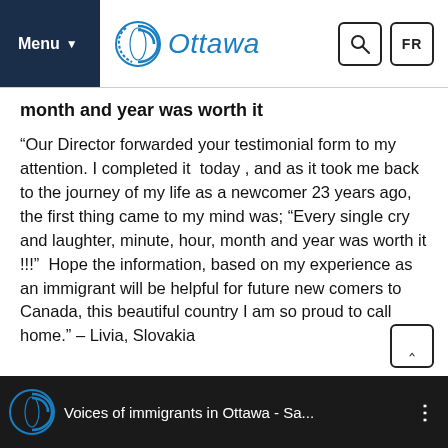Menu | Ottawa | Search | FR
month and year was worth it
“Our Director forwarded your testimonial form to my attention. I completed it  today , and as it took me back to the journey of my life as a newcomer 23 years ago, the first thing came to my mind was; “Every single cry and laughter, minute, hour, month and year was worth it !!!”  Hope the information, based on my experience as an immigrant will be helpful for future new comers to Canada, this beautiful country I am so proud to call home.” – Livia, Slovakia
[Figure (screenshot): Video thumbnail showing Ottawa logo and text: Voices of immigrants in Ottawa - Sa...]